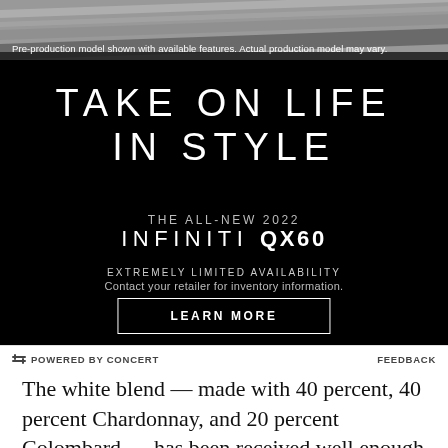[Figure (photo): Car advertisement with dark background, featuring a grayscale photo strip of what appears to be a vehicle at the top. Text overlay reads 'TAKE ON LIFE IN STYLE', 'THE ALL-NEW 2022 INFINITI QX60', 'EXTREMELY LIMITED AVAILABILITY', 'Contact your retailer for inventory information.', and a 'LEARN MORE' button.]
Pre-production model shown with available features. Actual production model may vary.
POWERED BY CONCERT   FEEDBACK
The white blend — made with 40 percent, 40 percent Chardonnay, and 20 percent Colombard — has been received well enough that customers started asking for it at Bootleg's Books Club Bar — and its